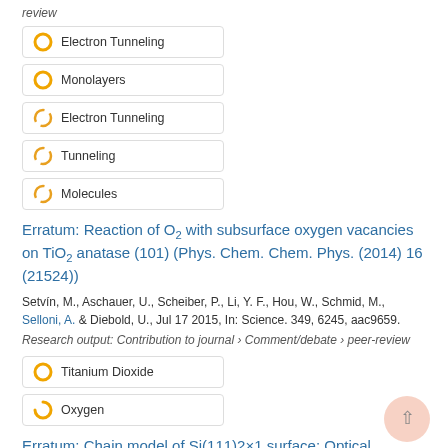review
Electron Tunneling
Monolayers
Electron Tunneling
Tunneling
Molecules
Erratum: Reaction of O2 with subsurface oxygen vacancies on TiO2 anatase (101) (Phys. Chem. Chem. Phys. (2014) 16 (21524))
Setvín, M., Aschauer, U., Scheiber, P., Li, Y. F., Hou, W., Schmid, M., Selloni, A. & Diebold, U., Jul 17 2015, In: Science. 349, 6245, aac9659.
Research output: Contribution to journal › Comment/debate › peer-review
Titanium Dioxide
Oxygen
Erratum: Chain model of Si(111)2×1 surface: Optical properties and surface-state excitons (Physical